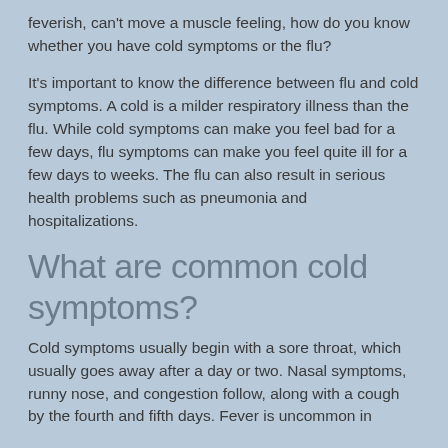feverish, can't move a muscle feeling, how do you know whether you have cold symptoms or the flu?
It's important to know the difference between flu and cold symptoms. A cold is a milder respiratory illness than the flu. While cold symptoms can make you feel bad for a few days, flu symptoms can make you feel quite ill for a few days to weeks. The flu can also result in serious health problems such as pneumonia and hospitalizations.
What are common cold symptoms?
Cold symptoms usually begin with a sore throat, which usually goes away after a day or two. Nasal symptoms, runny nose, and congestion follow, along with a cough by the fourth and fifth days. Fever is uncommon in